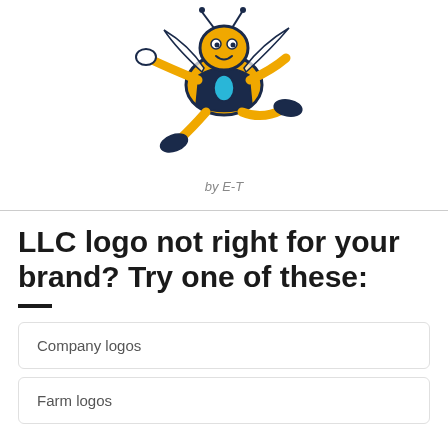[Figure (illustration): A cartoon bee or insect mascot character wearing a dark outfit, depicted in a dynamic running or skating pose, colored in yellow, dark navy, and light blue, on a white background.]
by E-T
LLC logo not right for your brand? Try one of these:
Company logos
Farm logos